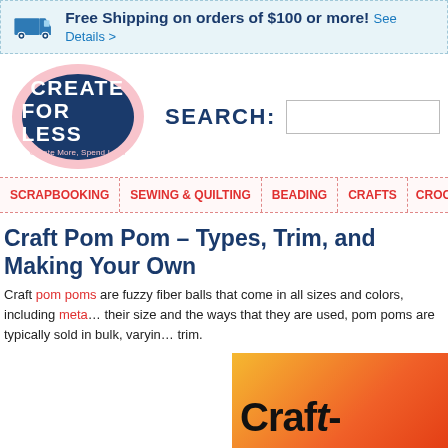Free Shipping on orders of $100 or more! See Details >
[Figure (logo): Create For Less logo — pink oval with dark navy inner oval, white text CREATE FOR LESS, tagline Create More, Spend Less]
SEARCH:
SCRAPBOOKING
SEWING & QUILTING
BEADING
CRAFTS
CROCHE…
Craft Pom Pom – Types, Trim, and Making Your Own
Craft pom poms are fuzzy fiber balls that come in all sizes and colors, including meta… their size and the ways that they are used, pom poms are typically sold in bulk, varyin… trim.
[Figure (photo): Photo of orange/red fuzzy pom poms with handwritten text 'Craft' visible]